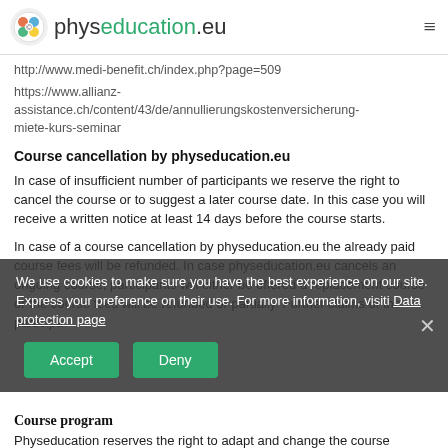physeducation.eu
http://www.medi-benefit.ch/index.php?page=509
https://www.allianz-assistance.ch/content/43/de/annullierungskostenversicherung-miete-kurs-seminar
Course cancellation by physeducation.eu
In case of insufficient number of participants we reserve the right to cancel the course or to suggest a later course date. In this case you will receive a written notice at least 14 days before the course starts.
In case of a course cancellation by physeducation.eu the already paid course fees will be refunded. In case physeducation.eu cancels an ongoing course, participants will either be offered a replacement course or the course fees will be refunded or partially. Further claims of the participants are excluded.
We use cookies to make sure you have the best experience on our site. Express your preference on their use. For more information, visiti Data protection page
Course program
Physeducation reserves the right to adapt and change the course